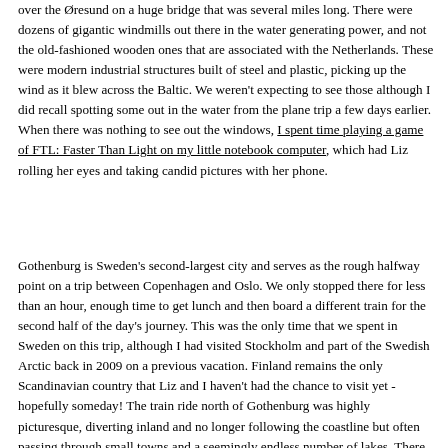over the Øresund on a huge bridge that was several miles long. There were dozens of gigantic windmills out there in the water generating power, and not the old-fashioned wooden ones that are associated with the Netherlands. These were modern industrial structures built of steel and plastic, picking up the wind as it blew across the Baltic. We weren't expecting to see those although I did recall spotting some out in the water from the plane trip a few days earlier. When there was nothing to see out the windows, I spent time playing a game of FTL: Faster Than Light on my little notebook computer, which had Liz rolling her eyes and taking candid pictures with her phone.
Gothenburg is Sweden's second-largest city and serves as the rough halfway point on a trip between Copenhagen and Oslo. We only stopped there for less than an hour, enough time to get lunch and then board a different train for the second half of the day's journey. This was the only time that we spent in Sweden on this trip, although I had visited Stockholm and part of the Swedish Arctic back in 2009 on a previous vacation. Finland remains the only Scandinavian country that Liz and I haven't had the chance to visit yet - hopefully someday! The train ride north of Gothenburg was highly picturesque, diverting inland and no longer following the coastline but often passing through small towns and a seemingly endless number of lakes. There was a beautiful little town names Sarpsborg where our train passed right through the center, crossing